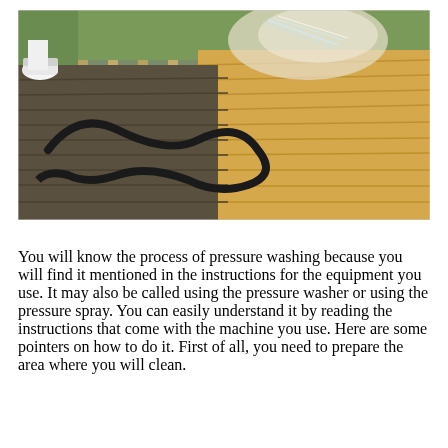[Figure (photo): A person pressure washing a wooden deck. The left side of the deck is wet and darker, while the right side shows the cleaned, lighter-colored wood. A black hose is coiled on the deck. The person's white sneaker is visible at the top left. Wooden fence rails are visible in the background.]
You will know the process of pressure washing because you will find it mentioned in the instructions for the equipment you use. It may also be called using the pressure washer or using the pressure spray. You can easily understand it by reading the instructions that come with the machine you use. Here are some pointers on how to do it. First of all, you need to prepare the area where you will clean.